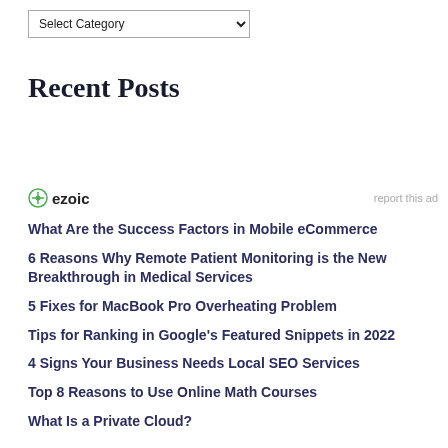Select Category (dropdown)
Recent Posts
[Figure (other): Ezoic advertisement banner with ezoic logo and 'report this ad' link]
What Are the Success Factors in Mobile eCommerce
6 Reasons Why Remote Patient Monitoring is the New Breakthrough in Medical Services
5 Fixes for MacBook Pro Overheating Problem
Tips for Ranking in Google's Featured Snippets in 2022
4 Signs Your Business Needs Local SEO Services
Top 8 Reasons to Use Online Math Courses
What Is a Private Cloud?